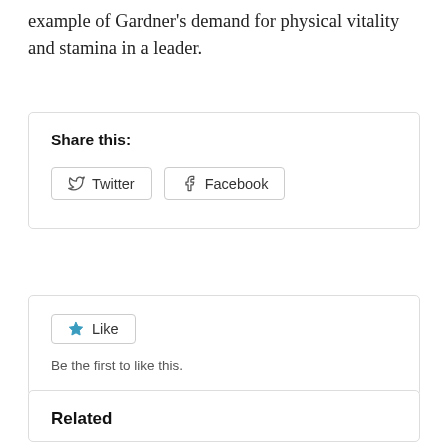example of Gardner's demand for physical vitality and stamina in a leader.
Share this:
Twitter  Facebook
Like  Be the first to like this.
Related